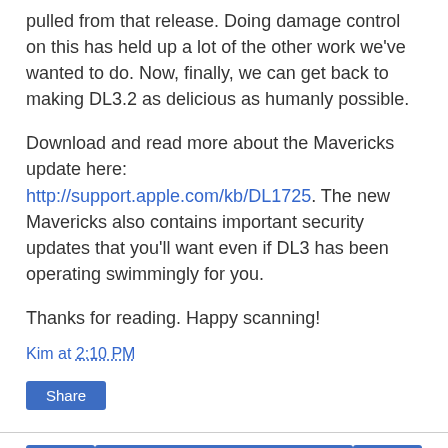pulled from that release. Doing damage control on this has held up a lot of the other work we've wanted to do. Now, finally, we can get back to making DL3.2 as delicious as humanly possible.
Download and read more about the Mavericks update here: http://support.apple.com/kb/DL1725. The new Mavericks also contains important security updates that you'll want even if DL3 has been operating swimmingly for you.
Thanks for reading. Happy scanning!
Kim at 2:10 PM
Share
< Home > View web version
Contributors